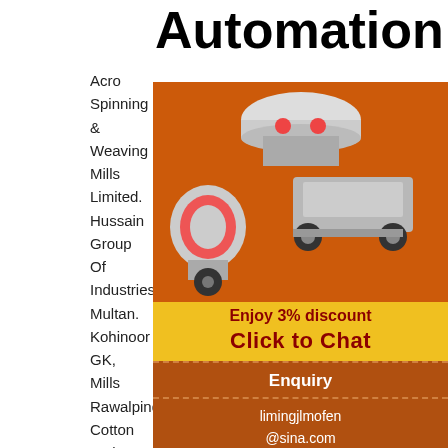Automation
Acro Spinning & Weaving Mills Limited. Hussain Group Of Industries Multan. Kohinoor GK, Mills Rawalpindi. Cotton Web Company. Chiragh Textile Mills Ltd. Zahid Nature Farming. Standard Spinning Mills Ltd.
Welcome to Lahore Chamber of Commerce & Industry
[Figure (photo): Advertisement banner with industrial machinery (crushers, mills) on orange background with 'Enjoy 3% discount', 'Click to Chat', 'Enquiry', and 'limingjlmofen@sina.com' sections]
Mship No: 51556-C ACRO SPINNING WEAVING MILLS LTD 106/3, SAINT JOHN PARK, CANT, LAHORE MR. HASSAN AKBAR - Chief Executive Ph(Off ): +92-42-36664301 +92-42-36664307 300-4022833+92-333-4655556 Email: